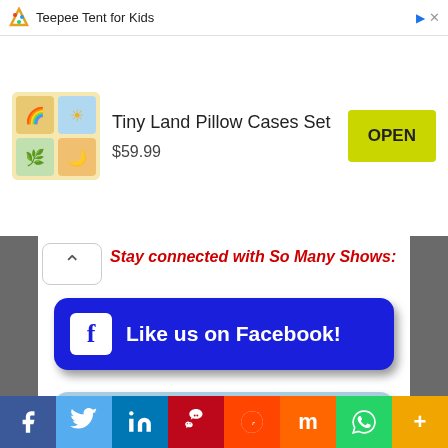[Figure (screenshot): Advertisement bar: Teepee Tent for Kids with triangle icon]
[Figure (screenshot): Product ad card: Tiny Land Pillow Cases Set $59.99 with OPEN button]
Stay connected with So Many Shows:
[Figure (infographic): Like us on Facebook button - dark blue rounded rectangle with Facebook icon]
[Figure (infographic): Follow us on Twitter button - light blue rounded rectangle with Twitter bird icon]
More From So Many Shows:
[Figure (infographic): Social media share bar: Facebook, Twitter, LinkedIn, Pinterest, Reddit, Mix, WhatsApp, More buttons]